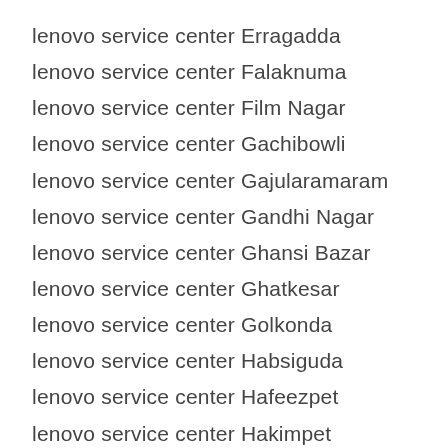lenovo service center Erragadda
lenovo service center Falaknuma
lenovo service center Film Nagar
lenovo service center Gachibowli
lenovo service center Gajularamaram
lenovo service center Gandhi Nagar
lenovo service center Ghansi Bazar
lenovo service center Ghatkesar
lenovo service center Golkonda
lenovo service center Habsiguda
lenovo service center Hafeezpet
lenovo service center Hakimpet
lenovo service center Hastinapuram